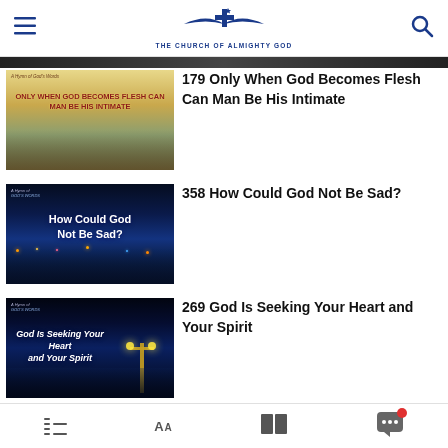THE CHURCH OF ALMIGHTY GOD
[Figure (screenshot): Thumbnail for hymn 179: disciples sitting with Jesus outdoors, warm golden light, text overlay reads 'ONLY WHEN GOD BECOMES FLESH CAN MAN BE HIS INTIMATE']
179 Only When God Becomes Flesh Can Man Be His Intimate
[Figure (screenshot): Thumbnail for hymn 358: night cityscape with lake reflection, blue tones, text overlay reads 'How Could God Not Be Sad?']
358 How Could God Not Be Sad?
[Figure (screenshot): Thumbnail for hymn 269: night scene with lamp post cross, text overlay reads 'God Is Seeking Your Heart and Your Spirit']
269 God Is Seeking Your Heart and Your Spirit
Navigation icons: list, font size, book, chat